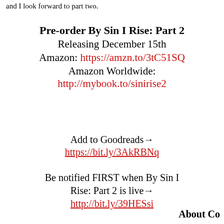and I look forward to part two.
Pre-order By Sin I Rise: Part 2
Releasing December 15th
Amazon: https://amzn.to/3tC51SQ
Amazon Worldwide:
http://mybook.to/sinirise2

Add to Goodreads→
https://bit.ly/3AkRBNq

Be notified FIRST when By Sin I Rise: Part 2 is live→
http://bit.ly/39HESsi
About Co